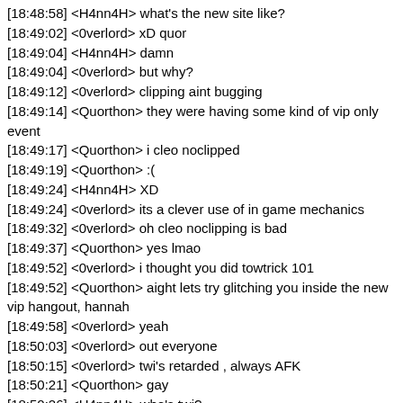[18:48:58] <H4nn4H> what's the new site like?
[18:49:02] <0verlord> xD quor
[18:49:04] <H4nn4H> damn
[18:49:04] <0verlord> but why?
[18:49:12] <0verlord> clipping aint bugging
[18:49:14] <Quorthon> they were having some kind of vip only event
[18:49:17] <Quorthon> i cleo noclipped
[18:49:19] <Quorthon> :(
[18:49:24] <H4nn4H> XD
[18:49:24] <0verlord> its a clever use of in game mechanics
[18:49:32] <0verlord> oh cleo noclipping is bad
[18:49:37] <Quorthon> yes lmao
[18:49:52] <0verlord> i thought you did towtrick 101
[18:49:52] <Quorthon> aight lets try glitching you inside the new vip hangout, hannah
[18:49:58] <0verlord> yeah
[18:50:03] <0verlord> out everyone
[18:50:15] <0verlord> twi's retarded , always AFK
[18:50:21] <Quorthon> gay
[18:50:26] <H4nn4H> who's twi?
[18:50:31] <Quorthon> id 0
[18:51:01] <H4nn4H> how do i get out?
[18:51:06] <Quorthon> /respawn
[18:51:29] <Quorthon> lv /rc
[18:51:52] <0verlord> quor